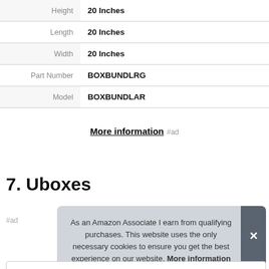|  |  |
| --- | --- |
| Height | 20 Inches |
| Length | 20 Inches |
| Width | 20 Inches |
| Part Number | BOXBUNDLRG |
| Model | BOXBUNDLAR |
More information #ad
7. Uboxes
#ad
As an Amazon Associate I earn from qualifying purchases. This website uses the only necessary cookies to ensure you get the best experience on our website. More information